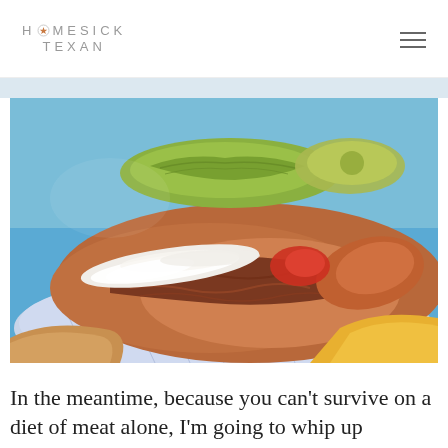HOMESICK TEXAN
[Figure (photo): Close-up photo of Texas BBQ brisket and smoked meats served in a blue checkered paper-lined tray, topped with sliced white onions, pickled jalapeños, and pickles, with yellow cheese or cornbread visible in the foreground.]
In the meantime, because you can't survive on a diet of meat alone, I'm going to whip up